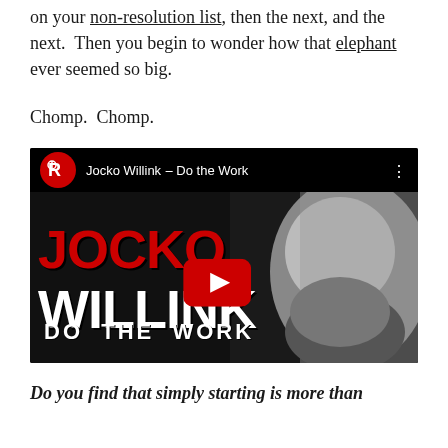on your non-resolution list, then the next, and the next.  Then you begin to wonder how that elephant ever seemed so big.
Chomp.  Chomp.
[Figure (screenshot): YouTube video thumbnail for 'Jocko Willink – Do the Work' showing stylized black and white portrait with red JOCKO text and white WILLINK and DO THE WORK text, with a YouTube play button overlay.]
Do you find that simply starting is more than